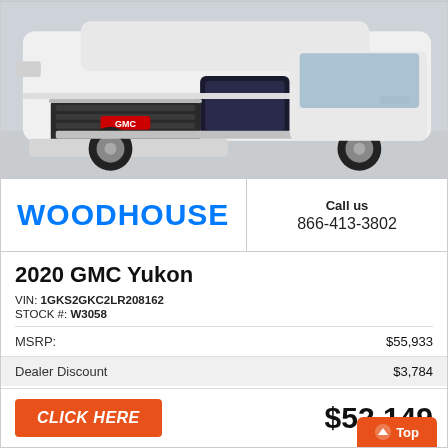[Figure (photo): Front-facing photo of a white 2020 GMC Yukon SUV in a studio/dealer setting]
WOODHOUSE
Call us
866-413-3802
2020 GMC Yukon
VIN: 1GKS2GKC2LR208162
STOCK #: W3058
| Label | Amount |
| --- | --- |
| MSRP: | $55,933 |
| Dealer Discount | $3,784 |
CLICK HERE
$52,149